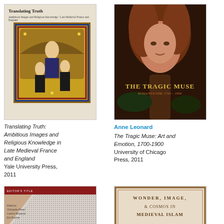[Figure (illustration): Book cover of 'Translating Truth: Ambitious Images and Religious Knowledge in Late Medieval France and England' featuring a medieval illuminated manuscript image]
Translating Truth: Ambitious Images and Religious Knowledge in Late Medieval France and England
Yale University Press, 2011
[Figure (illustration): Book cover of 'The Tragic Muse: Art and Emotion, 1700-1900' featuring a Pre-Raphaelite style painting of a red-haired woman]
Anne Leonard
The Tragic Muse: Art and Emotion, 1700-1900
University of Chicago Press, 2011
[Figure (illustration): Book cover with dark red border and diagonal pattern, with editors listed at bottom left]
[Figure (illustration): Book cover reading 'Wonder, Image, & Cosmos in Medieval Islam' with decorative border]